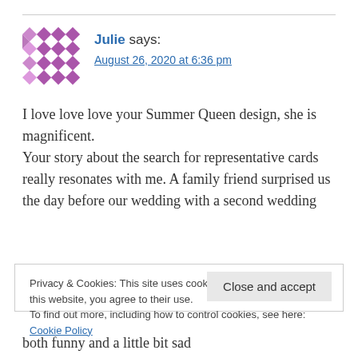[Figure (illustration): Purple diamond/cross pattern avatar icon for user Julie]
Julie says:
August 26, 2020 at 6:36 pm
I love love love your Summer Queen design, she is magnificent.
Your story about the search for representative cards really resonates with me. A family friend surprised us the day before our wedding with a second wedding
Privacy & Cookies: This site uses cookies. By continuing to use this website, you agree to their use.
To find out more, including how to control cookies, see here: Cookie Policy
Close and accept
both funny and a little bit sad